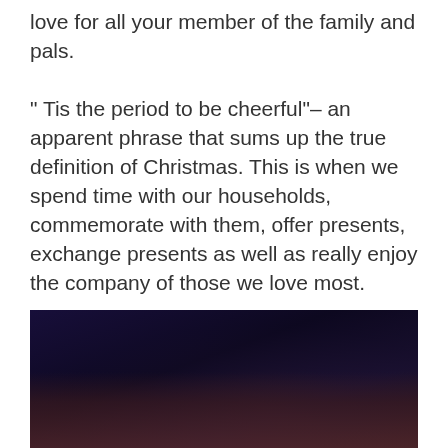love for all your member of the family and pals.

" Tis the period to be cheerful"– an apparent phrase that sums up the true definition of Christmas. This is when we spend time with our households, commemorate with them, offer presents, exchange presents as well as really enjoy the company of those we love most.
[Figure (photo): A dark, close-up photograph showing dark blue and deep purple tones, appears to be a fabric or textile surface with very dim lighting.]